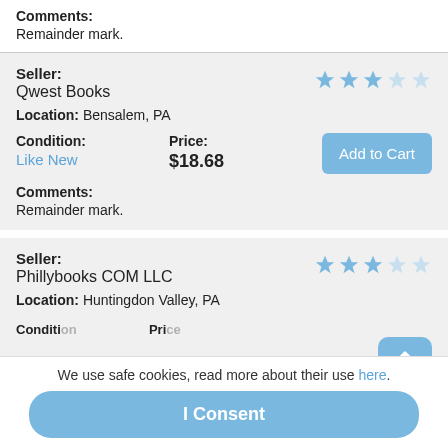Comments: Remainder mark.
Seller: Qwest Books
Location: Bensalem, PA
Condition: Like New
Price: $18.68
Comments: Remainder mark.
Seller: Phillybooks COM LLC
Location: Huntingdon Valley, PA
We use safe cookies, read more about their use here.
I Consent